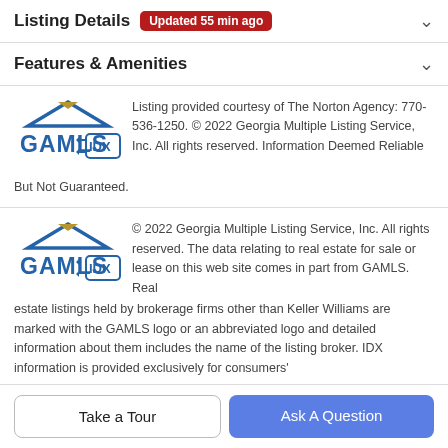Listing Details Updated 55 min ago
Features & Amenities
[Figure (logo): GAMLS IDX logo – blue house roof with gold peak, blue text GAMLS, and IDX in a box with arrows]
Listing provided courtesy of The Norton Agency: 770-536-1250. © 2022 Georgia Multiple Listing Service, Inc. All rights reserved. Information Deemed Reliable But Not Guaranteed.
[Figure (logo): GAMLS IDX logo – blue house roof with gold peak, blue text GAMLS, and IDX in a box with arrows]
© 2022 Georgia Multiple Listing Service, Inc. All rights reserved. The data relating to real estate for sale or lease on this web site comes in part from GAMLS. Real estate listings held by brokerage firms other than Keller Williams are marked with the GAMLS logo or an abbreviated logo and detailed information about them includes the name of the listing broker. IDX information is provided exclusively for consumers'
personal, non-commercial use and may not be used for any purpose other than
Take a Tour
Ask A Question